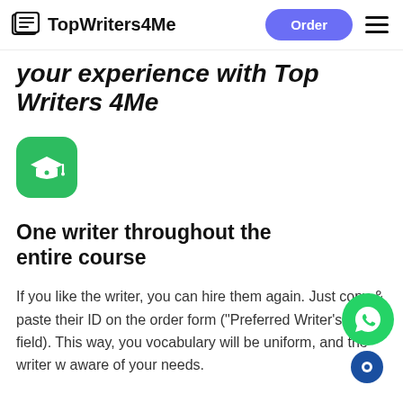TopWriters4Me | Order
your experience with Top Writers 4Me
[Figure (illustration): Green rounded square icon with a white graduation cap emoji]
One writer throughout the entire course
If you like the writer, you can hire them again. Just copy & paste their ID on the order form ("Preferred Writer's ID" field). This way, you vocabulary will be uniform, and the writer w aware of your needs.